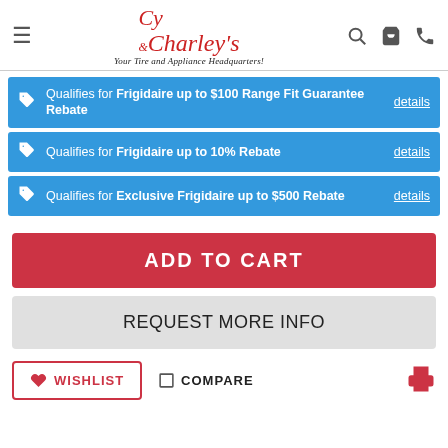[Figure (logo): Cy & Charley's logo with tagline 'Your Tire and Appliance Headquarters!']
Qualifies for Frigidaire up to $100 Range Fit Guarantee Rebate details
Qualifies for Frigidaire up to 10% Rebate details
Qualifies for Exclusive Frigidaire up to $500 Rebate details
ADD TO CART
REQUEST MORE INFO
WISHLIST
COMPARE